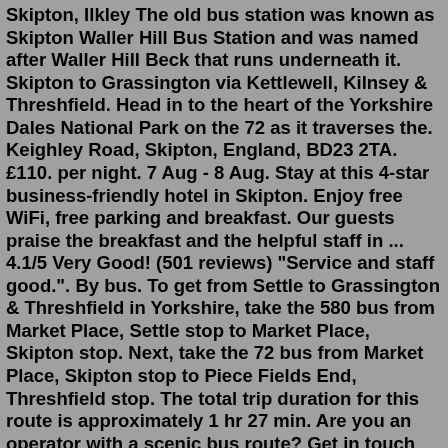Skipton, Ilkley The old bus station was known as Skipton Waller Hill Bus Station and was named after Waller Hill Beck that runs underneath it. Skipton to Grassington via Kettlewell, Kilnsey & Threshfield. Head in to the heart of the Yorkshire Dales National Park on the 72 as it traverses the. Keighley Road, Skipton, England, BD23 2TA. £110. per night. 7 Aug - 8 Aug. Stay at this 4-star business-friendly hotel in Skipton. Enjoy free WiFi, free parking and breakfast. Our guests praise the breakfast and the helpful staff in ... 4.1/5 Very Good! (501 reviews) "Service and staff good.". By bus. To get from Settle to Grassington & Threshfield in Yorkshire, take the 580 bus from Market Place, Settle stop to Market Place, Skipton stop. Next, take the 72 bus from Market Place, Skipton stop to Piece Fields End, Threshfield stop. The total trip duration for this route is approximately 1 hr 27 min. Are you an operator with a scenic bus route? Get in touch with us and we'll add your route to the Scenic Great Britain website - for free! Email us at: scenic@mangopear.co.uk Skipton The Keighley